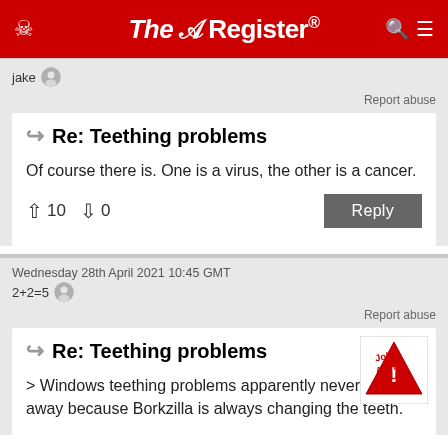The Register
jake
Report abuse
Re: Teething problems
Of course there is. One is a virus, the other is a cancer.
↑10  ↓0
Wednesday 28th April 2021 10:45 GMT
2+2=5
Report abuse
Re: Teething problems
[Figure (illustration): Joke Alert badge — red triangle with 'Joke Alert!' text]
> Windows teething problems apparently never go away because Borkzilla is always changing the teeth.